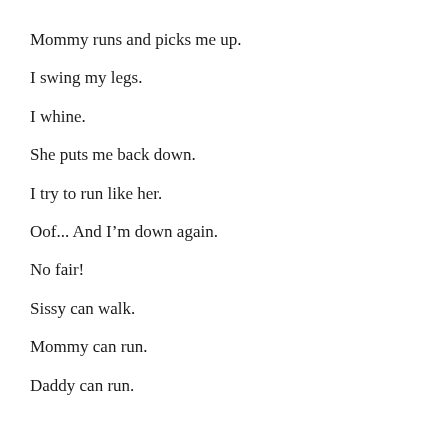Mommy runs and picks me up.
I swing my legs.
I whine.
She puts me back down.
I try to run like her.
Oof... And I'm down again.
No fair!
Sissy can walk.
Mommy can run.
Daddy can run.